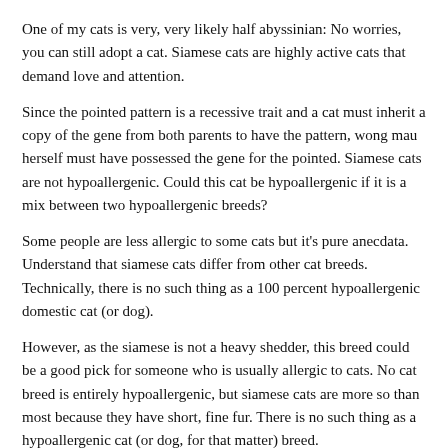One of my cats is very, very likely half abyssinian: No worries, you can still adopt a cat. Siamese cats are highly active cats that demand love and attention.
Since the pointed pattern is a recessive trait and a cat must inherit a copy of the gene from both parents to have the pattern, wong mau herself must have possessed the gene for the pointed. Siamese cats are not hypoallergenic. Could this cat be hypoallergenic if it is a mix between two hypoallergenic breeds?
Some people are less allergic to some cats but it's pure anecdata. Understand that siamese cats differ from other cat breeds. Technically, there is no such thing as a 100 percent hypoallergenic domestic cat (or dog).
However, as the siamese is not a heavy shedder, this breed could be a good pick for someone who is usually allergic to cats. No cat breed is entirely hypoallergenic, but siamese cats are more so than most because they have short, fine fur. There is no such thing as a hypoallergenic cat (or dog, for that matter) breed.
You might be one of the 6 to 10 million americans allergic to cats. In 2009, the biotechnology company based in delaware called allerca claimed to have bred a perfectly hypoallergenic cat. Siamese hypoallergenic cats below is the list of available cats.use the search tools on the left to narrow your search.